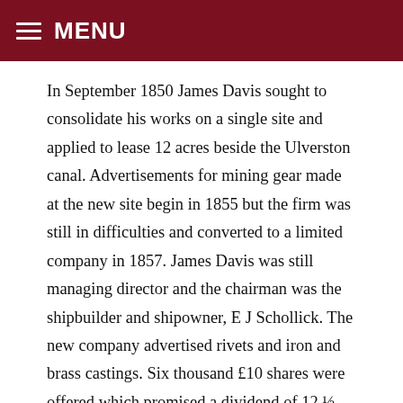MENU
In September 1850 James Davis sought to consolidate his works on a single site and applied to lease 12 acres beside the Ulverston canal. Advertisements for mining gear made at the new site begin in 1855 but the firm was still in difficulties and converted to a limited company in 1857. James Davis was still managing director and the chairman was the shipbuilder and shipowner, E J Schollick. The new company advertised rivets and iron and brass castings. Six thousand £10 shares were offered which promised a dividend of 12 ½ %. The company was barely 10 months old when an exciting extraordinary general meeting, was recorded in the Lancaster Gazette.
Petty & Postlethwaite were bankers, shipbuilders, shipowners and wine merchants. In 1846, according to the Kendal Mercury, they built the Augusta, a schooner of